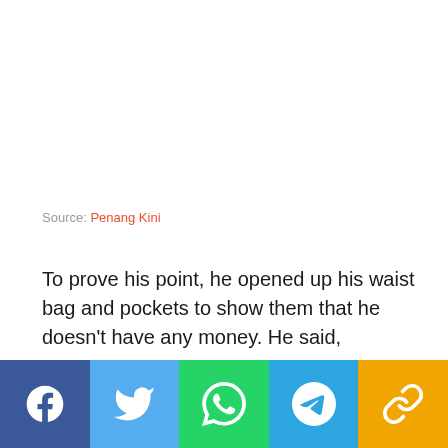Source: Penang Kini
To prove his point, he opened up his waist bag and pockets to show them that he doesn't have any money. He said,
“Abang, I have no money but I have that
[Figure (infographic): Social media share buttons bar: Facebook (blue), Twitter (light blue), WhatsApp (green), Telegram (blue), Link/copy (yellow/gold)]